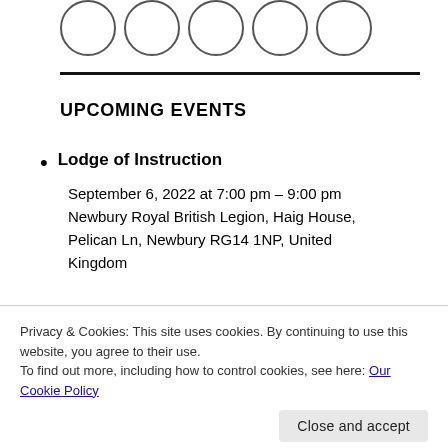[Figure (logo): Row of five circular logo/emblem outlines]
UPCOMING EVENTS
Lodge of Instruction
September 6, 2022 at 7:00 pm – 9:00 pm
Newbury Royal British Legion, Haig House, Pelican Ln, Newbury RG14 1NP, United Kingdom
Privacy & Cookies: This site uses cookies. By continuing to use this website, you agree to their use.
To find out more, including how to control cookies, see here: Our Cookie Policy
Pelican Ln, Newbury RG14 1NP, United